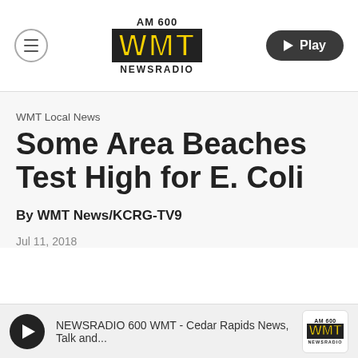[Figure (logo): AM 600 WMT NEWSRADIO logo with hamburger menu and Play button in nav bar]
WMT Local News
Some Area Beaches Test High for E. Coli
By WMT News/KCRG-TV9
Jul 11, 2018
[Figure (screenshot): Audio player bar: play button, text 'NEWSRADIO 600 WMT - Cedar Rapids News, Talk and...', AM 600 WMT NEWSRADIO logo]